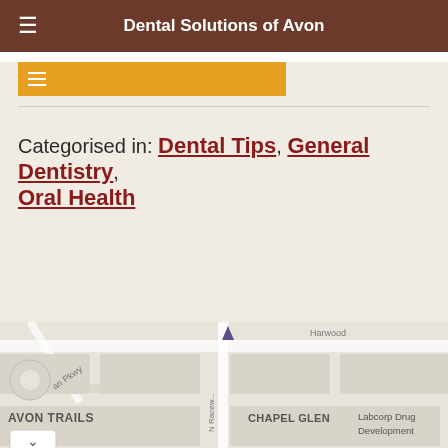Dental Solutions of Avon
Categorised in: Dental Tips, General Dentistry, Oral Health
[Figure (map): Street map showing Avon Trails, Chapel Glen, N Raceway road, and Labcorp Drug Development location]
[Figure (photo): Advertisement banner: Purchasers of certain Roundup®, HDX®, or Ace® brand weed killer products may be eligible for a cash payment from a class action settlement. Visit www.WeedKillerAdSettlement.com to learn more.]